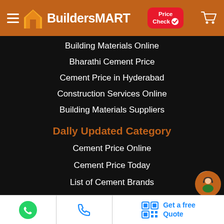BuildersMART Price Check
Building Materials Online
Bharathi Cement Price
Cement Price in Hyderabad
Construction Services Online
Building Materials Suppliers
Daily Updated Category
Cement Price Online
Cement Price Today
List of Cement Brands
Low Price Cement
Best Quality Cement
TMT Steel Price
WhatsApp | Phone | Get a free Quote